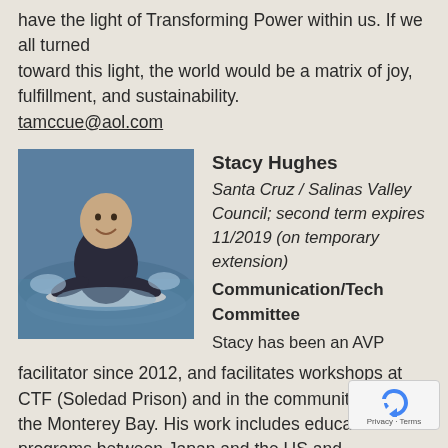have the light of Transforming Power within us. If we all turned toward this light, the world would be a matrix of joy, fulfillment, and sustainability. tamccue@aol.com
[Figure (photo): A bald man smiling in water, wearing a wetsuit, appearing to be surfing or swimming.]
Stacy Hughes
Santa Cruz / Salinas Valley Council; second term expires 11/2019 (on temporary extension)
Communication/Tech Committee
Stacy has been an AVP facilitator since 2012, and facilitates workshops at CTF (Soledad Prison) and in the community around the Monterey Bay. His work includes education programs between Japan and the US and